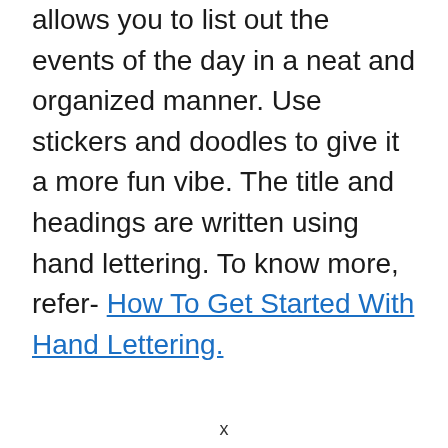allows you to list out the events of the day in a neat and organized manner. Use stickers and doodles to give it a more fun vibe. The title and headings are written using hand lettering. To know more, refer- How To Get Started With Hand Lettering.
x